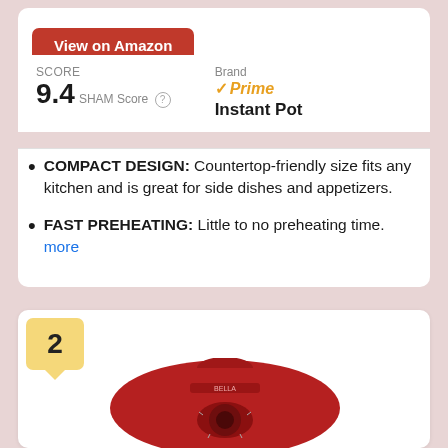View on Amazon
SCORE
9.4 SHAM Score
Brand
Instant Pot
Prime
COMPACT DESIGN: Countertop-friendly size fits any kitchen and is great for side dishes and appetizers.
FAST PREHEATING: Little to no preheating time. more
2
[Figure (photo): Red BELLA kitchen appliance (fryer or multi-cooker) with a dial control knob, viewed from the front.]